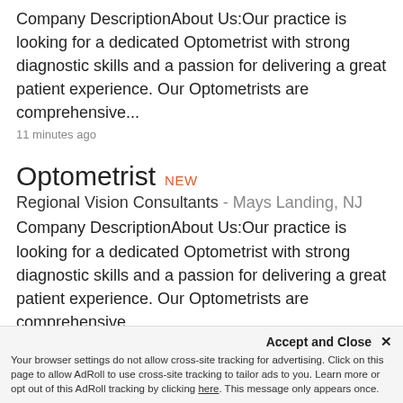Company DescriptionAbout Us:Our practice is looking for a dedicated Optometrist with strong diagnostic skills and a passion for delivering a great patient experience. Our Optometrists are comprehensive...
11 minutes ago
Optometrist NEW
Regional Vision Consultants - Mays Landing, NJ
Company DescriptionAbout Us:Our practice is looking for a dedicated Optometrist with strong diagnostic skills and a passion for delivering a great patient experience. Our Optometrists are comprehensive...
11 minutes ago
Optometrist
Accept and Close ✕ Your browser settings do not allow cross-site tracking for advertising. Click on this page to allow AdRoll to use cross-site tracking to tailor ads to you. Learn more or opt out of this AdRoll tracking by clicking here. This message only appears once.